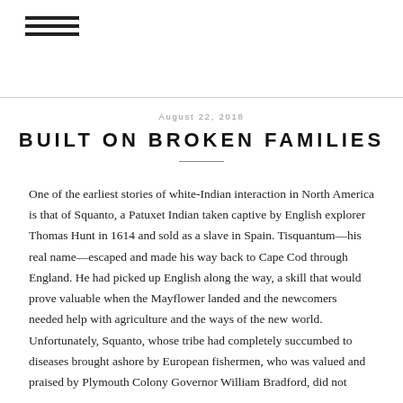☰
August 22, 2018
BUILT ON BROKEN FAMILIES
One of the earliest stories of white-Indian interaction in North America is that of Squanto, a Patuxet Indian taken captive by English explorer Thomas Hunt in 1614 and sold as a slave in Spain. Tisquantum—his real name—escaped and made his way back to Cape Cod through England. He had picked up English along the way, a skill that would prove valuable when the Mayflower landed and the newcomers needed help with agriculture and the ways of the new world. Unfortunately, Squanto, whose tribe had completely succumbed to diseases brought ashore by European fishermen, who was valued and praised by Plymouth Colony Governor William Bradford, did not